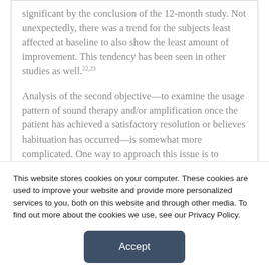significant by the conclusion of the 12-month study. Not unexpectedly, there was a trend for the subjects least affected at baseline to also show the least amount of improvement. This tendency has been seen in other studies as well.22,23
Analysis of the second objective—to examine the usage pattern of sound therapy and/or amplification once the patient has achieved a satisfactory resolution or believes habituation has occurred—is somewhat more complicated. One way to approach this issue is to compare the pattern of fractal tone,
This website stores cookies on your computer. These cookies are used to improve your website and provide more personalized services to you, both on this website and through other media. To find out more about the cookies we use, see our Privacy Policy.